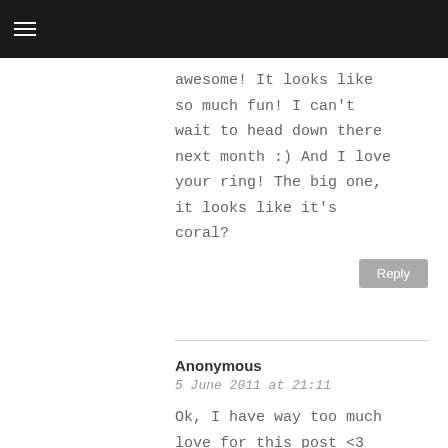≡
awesome! It looks like so much fun! I can't wait to head down there next month :) And I love your ring! The big one, it looks like it's coral?
Reply
Anonymous
5 June 2011 at 21:11
Ok, I have way too much love for this post <3 The photos look bloody amazing! That pic of the